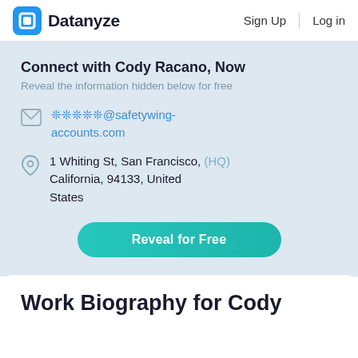Datanyze   Sign Up   Log in
Connect with Cody Racano, Now
Reveal the information hidden below for free
*****@safetywing-accounts.com
1 Whiting St, San Francisco, (HQ) California, 94133, United States
Reveal for Free
Work Biography for Cody